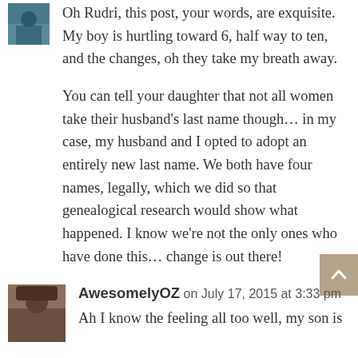[Figure (photo): Small square avatar image of a person, partially visible at top left]
Oh Rudri, this post, your words, are exquisite. My boy is hurtling toward 6, half way to ten, and the changes, oh they take my breath away.

You can tell your daughter that not all women take their husband's last name though… in my case, my husband and I opted to adopt an entirely new last name. We both have four names, legally, which we did so that genealogical research would show what happened. I know we're not the only ones who have done this… change is out there!
[Figure (photo): Square avatar image of a person wearing a hat, for user AwesomelyOZ]
AwesomelyOZ on July 17, 2015 at 3:33 pm
Ah I know the feeling all too well, my son is